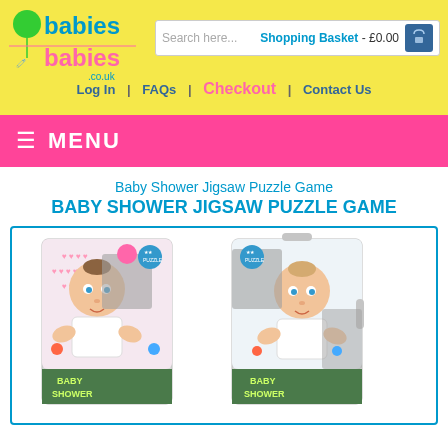[Figure (screenshot): babiesbabies.co.uk website header with green balloon logo, yellow background, search bar showing 'Search here...' and 'Shopping Basket - £0.00']
Log In | FAQs | Checkout | Contact Us
≡ MENU
Baby Shower Jigsaw Puzzle Game
BABY SHOWER JIGSAW PUZZLE GAME
[Figure (photo): Two Baby Shower Jigsaw Puzzle Game cards showing cartoon baby illustrations with puzzle piece cutouts and 'Baby Shower' text at bottom]